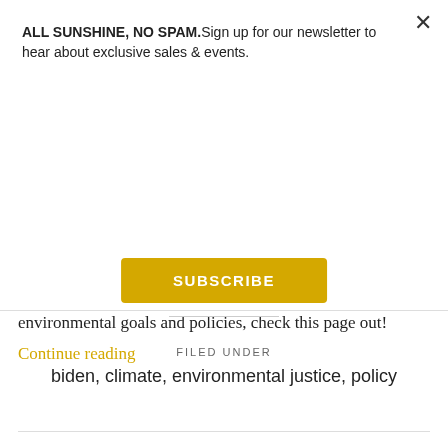ALL SUNSHINE, NO SPAM. Sign up for our newsletter to hear about exclusive sales & events.
SUBSCRIBE
Biden's climate plan? Do you want a simplified version of his comprehensive climate plan? If you're curious about his environmental goals and policies, check this page out!
Continue reading
FILED UNDER
biden, climate, environmental justice, policy